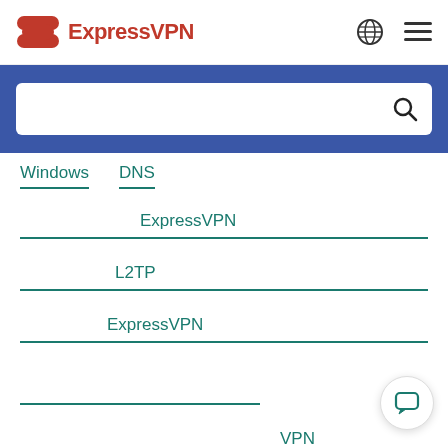[Figure (logo): ExpressVPN logo with shield/arrow icon and red brand name text]
[Figure (screenshot): Blue search bar section with white search input box and magnifying glass icon]
Windows   DNS
ExpressVPN
L2TP
ExpressVPN
VPN